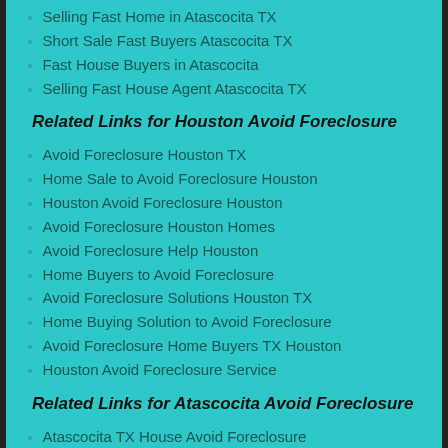Selling Fast Home in Atascocita TX
Short Sale Fast Buyers Atascocita TX
Fast House Buyers in Atascocita
Selling Fast House Agent Atascocita TX
Related Links for Houston Avoid Foreclosure
Avoid Foreclosure Houston TX
Home Sale to Avoid Foreclosure Houston
Houston Avoid Foreclosure Houston
Avoid Foreclosure Houston Homes
Avoid Foreclosure Help Houston
Home Buyers to Avoid Foreclosure
Avoid Foreclosure Solutions Houston TX
Home Buying Solution to Avoid Foreclosure
Avoid Foreclosure Home Buyers TX Houston
Houston Avoid Foreclosure Service
Related Links for Atascocita Avoid Foreclosure
Atascocita TX House Avoid Foreclosure